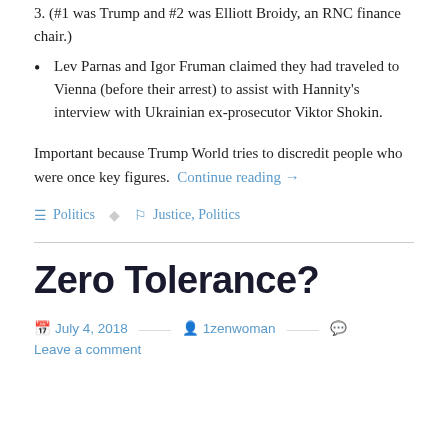3.  (#1 was Trump and #2 was Elliott Broidy, an RNC finance chair.)
Lev Parnas and Igor Fruman claimed they had traveled to Vienna (before their arrest) to assist with Hannity's interview with Ukrainian ex-prosecutor Viktor Shokin.
Important because Trump World tries to discredit people who were once key figures.  Continue reading →
Politics   Justice, Politics
Zero Tolerance?
July 4, 2018   1zenwoman   Leave a comment